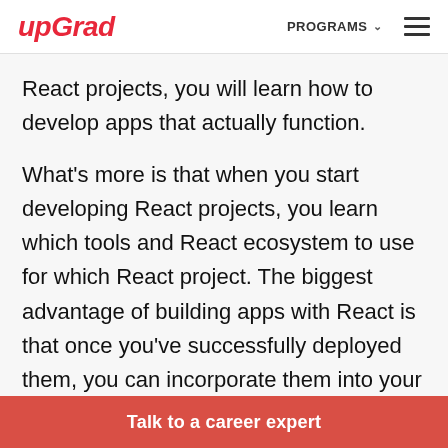upGrad  PROGRAMS  ☰
React projects, you will learn how to develop apps that actually function.
What's more is that when you start developing React projects, you learn which tools and React ecosystem to use for which React project. The biggest advantage of building apps with React is that once you've successfully deployed them, you can incorporate them into your portfolio to impress potential employers.
Talk to a career expert